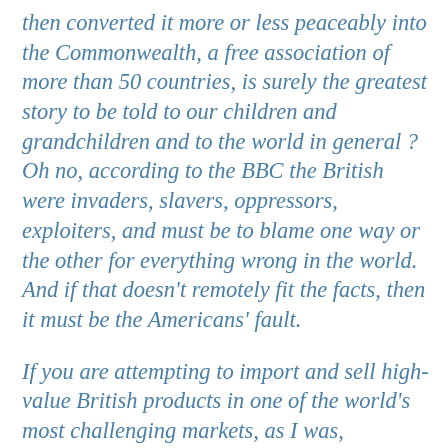then converted it more or less peaceably into the Commonwealth, a free association of more than 50 countries, is surely the greatest story to be told to our children and grandchildren and to the world in general ? Oh no, according to the BBC the British were invaders, slavers, oppressors, exploiters, and must be to blame one way or the other for everything wrong in the world. And if that doesn't remotely fit the facts, then it must be the Americans' fault.
If you are attempting to import and sell high-value British products in one of the world's most challenging markets, as I was,